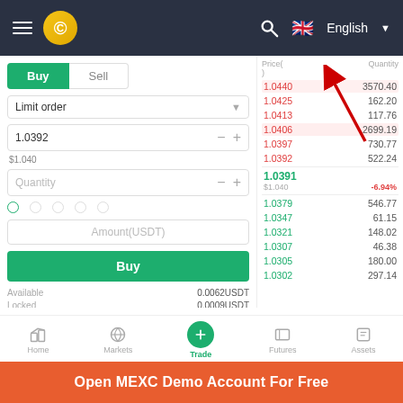[Figure (screenshot): MEXC mobile app navigation bar with hamburger menu, coin logo, search icon, UK flag and English language selector]
[Figure (screenshot): MEXC trading interface showing Buy/Sell tabs, Limit order input, price 1.0392, quantity field, percentage buttons, Amount(USDT) field, Buy button, Available 0.0062USDT, Locked 0.0009USDT, Total Asset 0.0062USDT, Tips box about currency risk]
[Figure (screenshot): Order book showing ask prices in red (1.0440, 1.0425, 1.0413, 1.0406, 1.0397, 1.0392) with quantities, mid price 1.0391 at $1.040 -6.94%, and bid prices in green (1.0379, 1.0347, 1.0321, 1.0307, 1.0305, 1.0302) with quantities, with red arrow annotation pointing up]
[Figure (screenshot): Show all toggle row and partial order tabs]
[Figure (screenshot): Bottom navigation bar with Home, Markets, Trade (active), Futures, Assets tabs]
Open MEXC Demo Account For Free